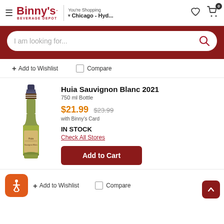Binny's Beverage Depot — You're Shopping · Chicago - Hyd...
I am looking for...
+ Add to Wishlist   Compare
Huia Sauvignon Blanc 2021
750 ml Bottle
$21.99  $23.99  with Binny's Card
IN STOCK
Check All Stores
Add to Cart
+ Add to Wishlist   Compare